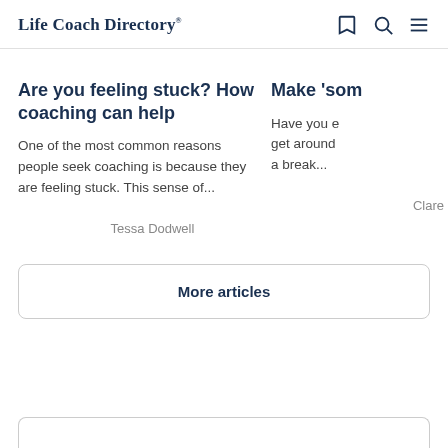Life Coach Directory®
Are you feeling stuck? How coaching can help
One of the most common reasons people seek coaching is because they are feeling stuck. This sense of...
Tessa Dodwell
Make 'som...
Have you e... get around... a break...
Clare
More articles